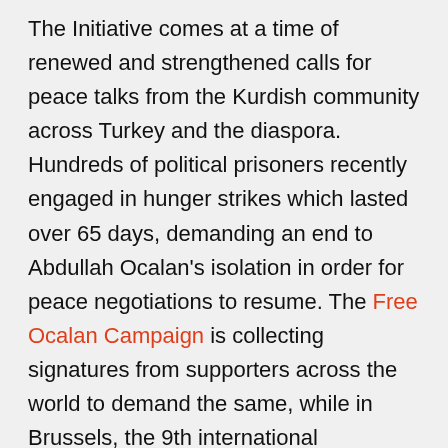The Initiative comes at a time of renewed and strengthened calls for peace talks from the Kurdish community across Turkey and the diaspora. Hundreds of political prisoners recently engaged in hunger strikes which lasted over 65 days, demanding an end to Abdullah Ocalan's isolation in order for peace negotiations to resume. The Free Ocalan Campaign is collecting signatures from supporters across the world to demand the same, while in Brussels, the 9th international conference of the EU Turkey Civic Commission taking place this week, will also address the key issue of restarting talks.
Archbishop Emeritus Desmond Tutu, who was